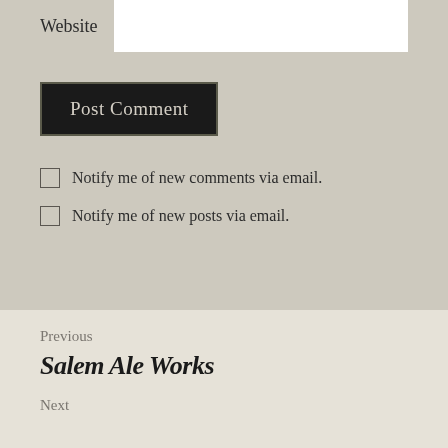Website
Post Comment
Notify me of new comments via email.
Notify me of new posts via email.
Previous
Salem Ale Works
Next